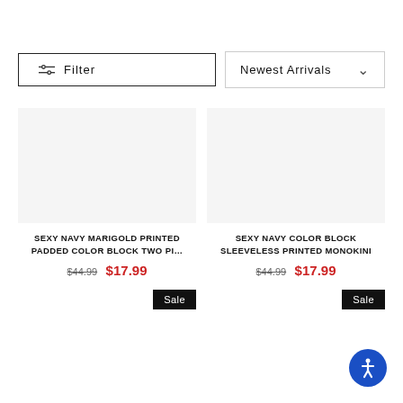Filter
Newest Arrivals
SEXY NAVY MARIGOLD PRINTED PADDED COLOR BLOCK TWO PI…
$44.99  $17.99
SEXY NAVY COLOR BLOCK SLEEVELESS PRINTED MONOKINI
$44.99  $17.99
Sale
Sale